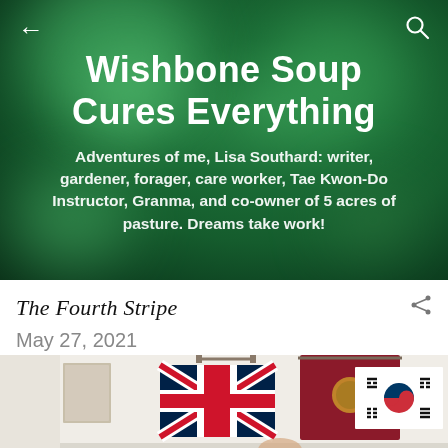Wishbone Soup Cures Everything
Adventures of me, Lisa Southard: writer, gardener, forager, care worker, Tae Kwon-Do Instructor, Granma, and co-owner of 5 acres of pasture. Dreams take work!
The Fourth Stripe
May 27, 2021
[Figure (photo): Photo of three flags hanging on a white wall: a UK Union Jack flag on the left, a dark red/maroon banner with a gold emblem in the center, and a South Korean Taegukgi flag on the right.]